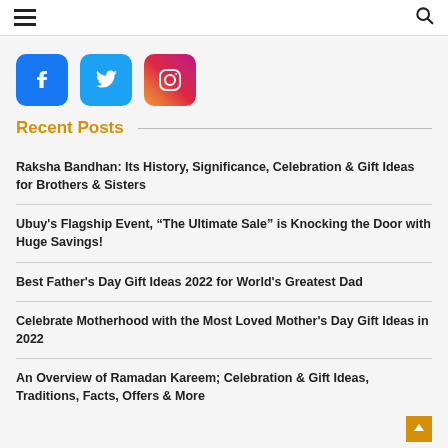Navigation header with hamburger menu and search icon
[Figure (logo): Facebook logo icon (blue rounded square with white f)]
[Figure (logo): Twitter logo icon (light blue rounded square with white bird)]
[Figure (logo): Instagram logo icon (gradient rounded square with camera outline)]
Recent Posts
Raksha Bandhan: Its History, Significance, Celebration & Gift Ideas for Brothers & Sisters
Ubuy's Flagship Event, "The Ultimate Sale" is Knocking the Door with Huge Savings!
Best Father's Day Gift Ideas 2022 for World's Greatest Dad
Celebrate Motherhood with the Most Loved Mother's Day Gift Ideas in 2022
An Overview of Ramadan Kareem; Celebration & Gift Ideas, Traditions, Facts, Offers & More